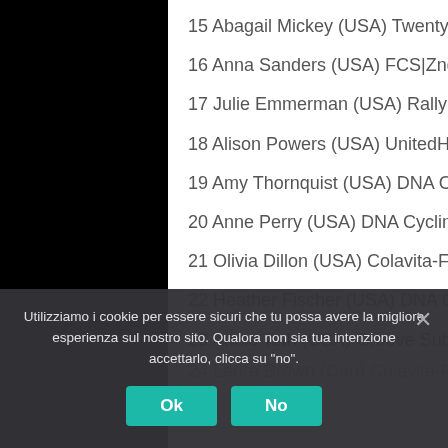15 Abagail Mickey (USA) Twenty16
16 Anna Sanders (USA) FCS|Zngine p/b Mr. Restore
17 Julie Emmerman (USA) Rally Sport 0:00:07
18 Alison Powers (USA) UnitedHealthcare Pro Cycling 0:00:09
19 Amy Thornquist (USA) DNA Cycling p/b K4 0:00:19
20 Anne Perry (USA) DNA Cycling p/b K4
21 Olivia Dillon (USA) Colavita-Fine Cooking 0:00:21
22 Heather Fischer (USA) DNA Cycling p/b K4 0:00:25
23 Annie Toth (USA) Groove Subaru Excel Sports 0:00:52
24 Laura Brown (Can) Colavita-Fine Cooking
Utilizziamo i cookie per essere sicuri che tu possa avere la migliore esperienza sul nostro sito. Qualora non sia tua intenzione accettarlo, clicca su "no".